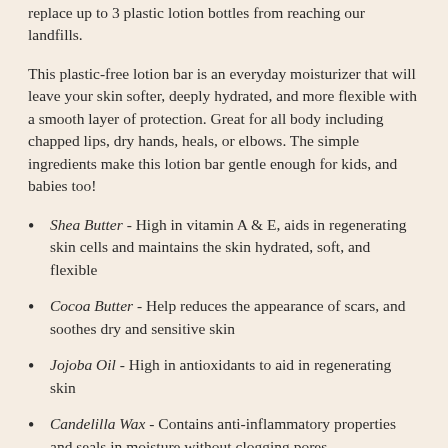replace up to 3 plastic lotion bottles from reaching our landfills.
This plastic-free lotion bar is an everyday moisturizer that will leave your skin softer, deeply hydrated, and more flexible with a smooth layer of protection. Great for all body including chapped lips, dry hands, heals, or elbows. The simple ingredients make this lotion bar gentle enough for kids, and babies too!
Shea Butter - High in vitamin A & E, aids in regenerating skin cells and maintains the skin hydrated, soft, and flexible
Cocoa Butter - Help reduces the appearance of scars, and soothes dry and sensitive skin
Jojoba Oil - High in antioxidants to aid in regenerating skin
Candelilla Wax - Contains anti-inflammatory properties and seals in moisture without clogging pores